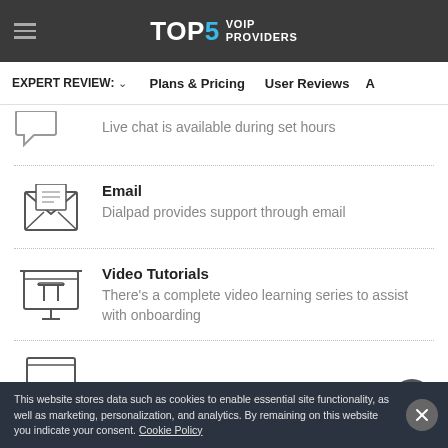TOP5 VOIP PROVIDERS
EXPERT REVIEW: ∨   Plans & Pricing   User Reviews   A
Live chat is available during set hours
Email — Dialpad provides support through email
Video Tutorials — There's a complete video learning series to assist with onboarding
This website stores data such as cookies to enable essential site functionality, as well as marketing, personalization, and analytics. By remaining on this website you indicate your consent. Cookie Policy